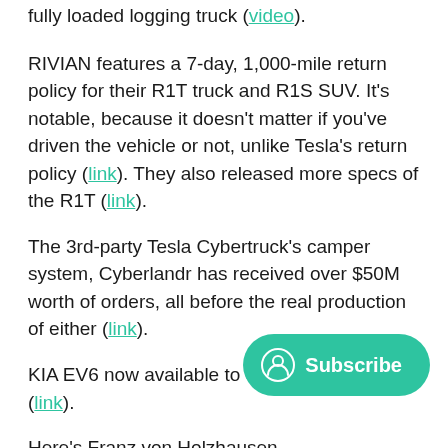fully loaded logging truck (video).
RIVIAN features a 7-day, 1,000-mile return policy for their R1T truck and R1S SUV. It's notable, because it doesn't matter if you've driven the vehicle or not, unlike Tesla's return policy (link). They also released more specs of the R1T (link).
The 3rd-party Tesla Cybertruck's camper system, Cyberlandr has received over $50M worth of orders, all before the real production of either (link).
KIA EV6 now available to order in Europe (link).
Here's Franz von Holzhausen test[ing] to FUV, a three-wheeler I personally think is awesome